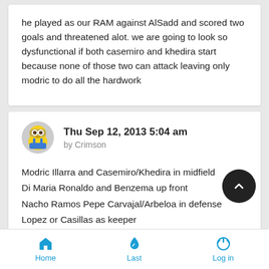he played as our RAM against AlSadd and scored two goals and threatened alot. we are going to look so dysfunctional if both casemiro and khedira start because none of those two can attack leaving only modric to do all the hardwork
Thu Sep 12, 2013 5:04 am
by Crimson
Modric Illarra and Casemiro/Khedira in midfield
Di Maria Ronaldo and Benzema up front
Nacho Ramos Pepe Carvajal/Arbeloa in defense
Lopez or Casillas as keeper

Bale, Morata and Jese for subs
Home | Last | Log in